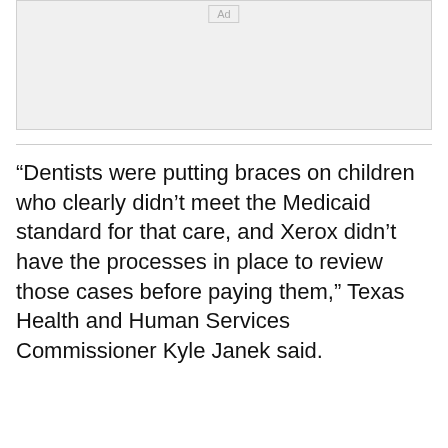[Figure (other): Advertisement placeholder box with 'Ad' label at top center]
“Dentists were putting braces on children who clearly didn’t meet the Medicaid standard for that care, and Xerox didn’t have the processes in place to review those cases before paying them,” Texas Health and Human Services Commissioner Kyle Janek said.